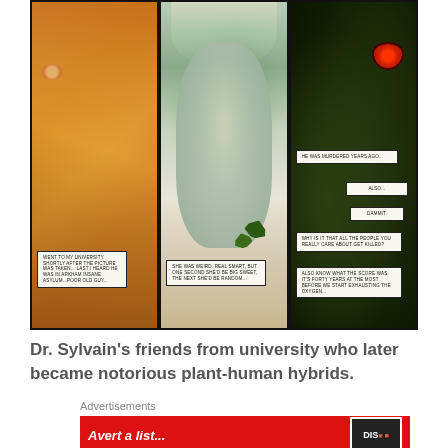[Figure (illustration): Comic book panel showing three close-up faces: left panel shows a lion/cat-like creature with orange fur and a red eye; center panel shows a woman with green-tinted skin and white-green hair; right panel shows a dark green monster with a red glowing eye. Each panel contains speech bubbles with dialogue text.]
Dr. Sylvain's friends from university who later became notorious plant-human hybrids.
Advertisements